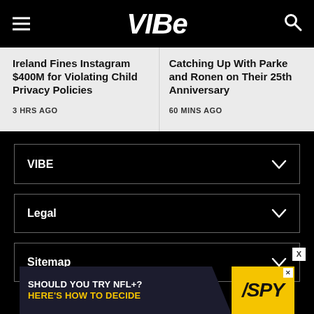VIBE
Ireland Fines Instagram $400M for Violating Child Privacy Policies
3 HRS AGO
Catching Up With Parke and Ronen on Their 25th Anniversary
60 MINS AGO
VIBE
Legal
Sitemap
[Figure (screenshot): Ad banner: SHOULD YOU TRY NFL+? HERE'S HOW TO DECIDE with SPY logo on yellow background]